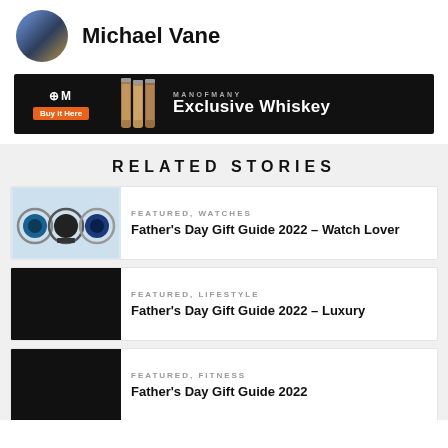Michael Vane
[Figure (infographic): ManOfMany Exclusive Whiskey advertisement banner with logo, Buy It Here button, whiskey bottle illustration, brand name and product name on black background]
RELATED STORIES
[Figure (photo): Thumbnail image of three watches (dive watch, dress watch, blue watch)]
FEATURED, WATCHES
Father's Day Gift Guide 2022 – Watch Lover
[Figure (photo): Dark/black thumbnail image for luxury article]
FEATURED, LIFESTYLE
Father's Day Gift Guide 2022 – Luxury
[Figure (photo): Dark/black thumbnail image for fitness article]
FEATURED, FITNESS
Father's Day Gift Guide 2022...